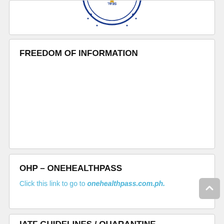[Figure (logo): Partial circular government seal logo, shown upside-down/cropped at top of page, blue and gold colors]
FREEDOM OF INFORMATION
OHP – ONEHEALTHPASS
Click this link to go to onehealthpass.com.ph.
IATF GUIDELINES / QUARANTINE